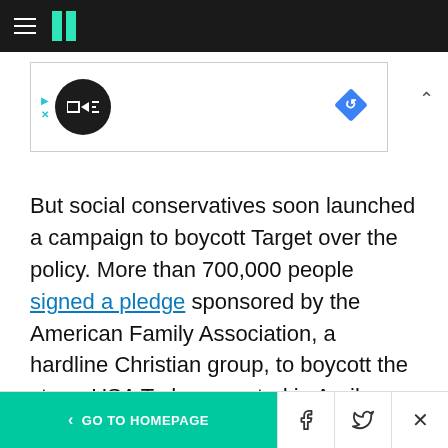HuffPost navigation header
[Figure (other): Advertisement banner with circular logo and diamond navigation icon]
But social conservatives soon launched a campaign to boycott Target over the policy. More than 700,000 people signed a pledge sponsored by the American Family Association, a hardline Christian group, to boycott the store, USA Today reported in April.
Those critics argue that, among other things, the
< GO TO HOMEPAGE  [Facebook] [Twitter] [X]